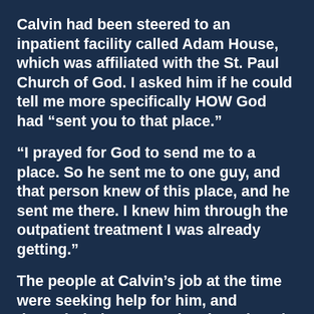Calvin had been steered to an inpatient facility called Adam House, which was affiliated with the St. Paul Church of God. I asked him if he could tell me more specifically HOW God had “sent you to that place.”
“I prayed for God to send me to a place. So he sent me to one guy, and that person knew of this place, and he sent me there. I knew him through the outpatient treatment I was already getting.”
The people at Calvin’s job at the time were seeking help for him, and through their contact they intro…